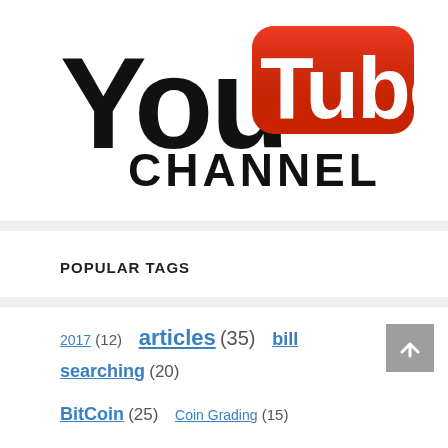[Figure (logo): YouTube Channel logo: 'You' in large black bold text, 'Tube' in large white text inside a red rounded rectangle icon, and 'CHANNEL' in bold black uppercase text below]
POPULAR TAGS
2017 (12) articles (35) bill searching (20) BitCoin (25) Coin Grading (15)